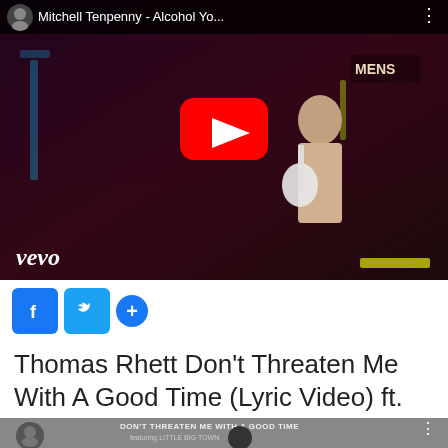[Figure (screenshot): YouTube video thumbnail for Mitchell Tenpenny - Alcohol Yo... showing a guitarist on stage in a dark bar setting with red lighting, vevo logo at bottom left, and red YouTube play button in center]
[Figure (screenshot): Social sharing buttons: Facebook (blue f icon), Twitter (blue bird icon), and a blue plus button]
Thomas Rhett Don’t Threaten Me With A Good Time (Lyric Video) ft. Little Big Town
[Figure (screenshot): Partial YouTube thumbnail for Thomas Rhett - Don't Threaten Me With A Good Time ft. Little Big Town, showing text DON'T THREATEN ME WITH A GOOD TIME at top]